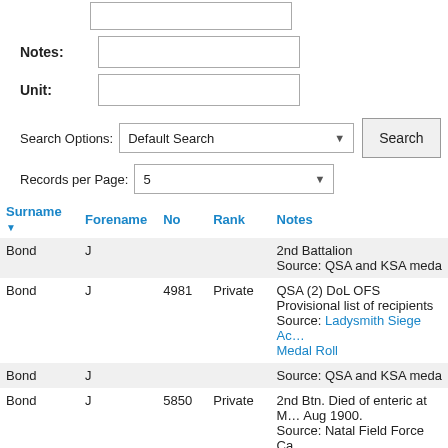Notes:
Unit:
Search Options: Default Search
Records per Page: 5
| Surname | Forename | No | Rank | Notes |
| --- | --- | --- | --- | --- |
| Bond | J |  |  | 2nd Battalion
Source: QSA and KSA meda… |
| Bond | J | 4981 | Private | QSA (2) DoL OFS
Provisional list of recipients
Source: Ladysmith Siege Ac… Medal Roll |
| Bond | J |  |  | Source: QSA and KSA meda… |
| Bond | J | 5850 | Private | 2nd Btn. Died of enteric at M… Aug 1900.
Source: Natal Field Force Ca… page 119 line 56 |